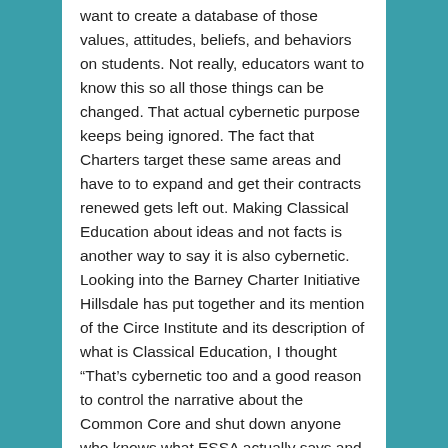want to create a database of those values, attitudes, beliefs, and behaviors on students. Not really, educators want to know this so all those things can be changed. That actual cybernetic purpose keeps being ignored. The fact that Charters target these same areas and have to to expand and get their contracts renewed gets left out. Making Classical Education about ideas and not facts is another way to say it is also cybernetic. Looking into the Barney Charter Initiative Hillsdale has put together and its mention of the Circe Institute and its description of what is Classical Education, I thought “That’s cybernetic too and a good reason to control the narrative about the Common Core and shut down anyone who knows what ESSA actually says and who would actually benefit.”
I have long wondered in all the discussions of the College Board’s shift in its AP courses to Conceptual Frameworks and the use of core ideas as ‘lenses’ why people with Social Anthropology PhDs never accurately explain what a cultural lens is. APUSH’s restructuring was never about what facts to teach and yet people who by specialty are thoroughly trained in using cultural lenses never explain